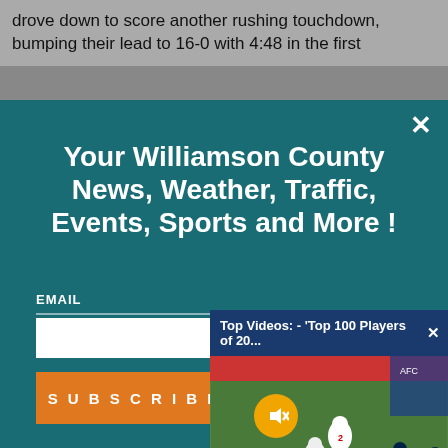drove down to score another rushing touchdown, bumping their lead to 16-0 with 4:48 in the first
Your Williamson County News, Weather, Traffic, Events, Sports and More !
EMAIL
SUBSCRIBE
[Figure (screenshot): Video popup overlay showing 'Top Videos: - Top 100 Players of 20...' with a football game scene (Seahawks vs Titans players on field) and a mute button]